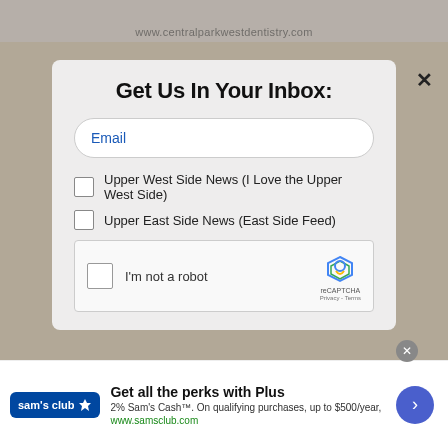www.centralparkwestdentistry.com
Get Us In Your Inbox:
Email
Upper West Side News (I Love the Upper West Side)
Upper East Side News (East Side Feed)
I'm not a robot  reCAPTCHA  Privacy - Terms
Get all the perks with Plus  2% Sam's Cash™. On qualifying purchases, up to $500/year,  www.samsclub.com